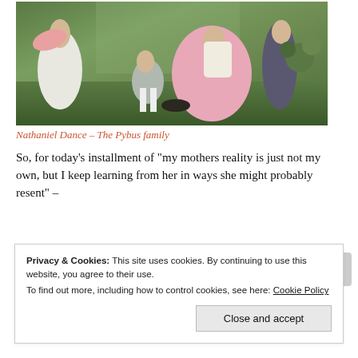[Figure (photo): Painting showing a family group in an outdoor garden setting, dressed in 18th century clothing. Figures include women in pink and white dresses, a boy in grey seated on the ground, and others standing. Rich colors of grass green, pink silk, and muted earth tones.]
Nathaniel Dance – The Pybus family
So, for today’s installment of “my mothers reality is just not my own, but I keep learning from her in ways she might probably resent” –
Privacy & Cookies: This site uses cookies. By continuing to use this website, you agree to their use. To find out more, including how to control cookies, see here: Cookie Policy
Close and accept